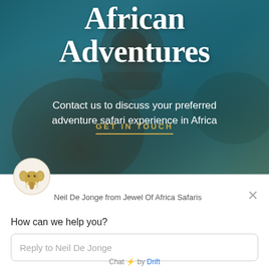[Figure (screenshot): Hero section of African Adventures safari website showing underwater/ocean background with swimmer, large white title text, subtitle, and GET IN TOUCH button]
African Adventures
Contact us to discuss your preferred adventure safari experience in Africa
GET IN TOUCH
[Figure (illustration): Elephant head logo/avatar in golden/amber color on circular white background]
Neil De Jonge from Jewel Of Africa Safaris
How can we help you?
Reply to Neil De Jonge
Chat ⚡ by Drift